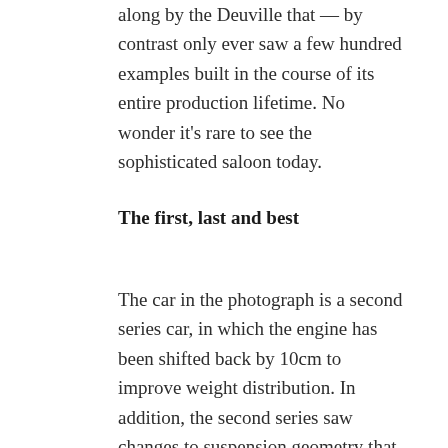along by the Deuville that — by contrast only ever saw a few hundred examples built in the course of its entire production lifetime. No wonder it's rare to see the sophisticated saloon today.
The first, last and best
The car in the photograph is a second series car, in which the engine has been shifted back by 10cm to improve weight distribution. In addition, the second series saw changes to suspension geometry that were used as the